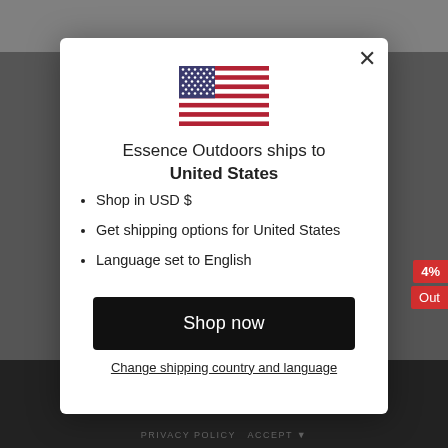[Figure (screenshot): Background of an e-commerce website with navigation bar and product imagery, partially obscured by a modal overlay]
[Figure (illustration): United States flag SVG illustration]
Essence Outdoors ships to United States
Shop in USD $
Get shipping options for United States
Language set to English
Shop now
Change shipping country and language